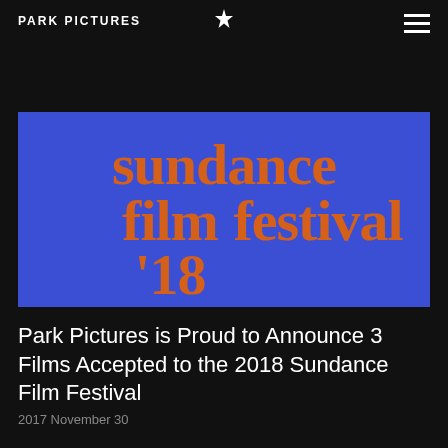PARK PICTURES
Hearts Beat Loud Lands Distribution Deal
2018 January 2
[Figure (logo): Sundance Film Festival '18 logo in orange text on blue background]
Park Pictures is Proud to Announce 3 Films Accepted to the 2018 Sundance Film Festival
2017 November 30